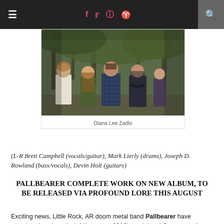[Figure (photo): Navigation bar with hamburger menu, social media icons (f, t, Instagram, Pinterest) in red/pink, and search icon on dark background]
[Figure (photo): Band photo of Pallbearer members standing outdoors in front of trees (L-R Brett Campbell, Mark Lierly, Joseph D. Rowland, Devin Holt)]
Diana Lee Zadlo
(L-R Brett Campbell (vocals/guitar), Mark Lierly (drums), Joseph D. Rowland (bass/vocals), Devin Holt (guitars)
PALLBEARER COMPLETE WORK ON NEW ALBUM, TO BE RELEASED VIA PROFOUND LORE THIS AUGUST
Exciting news, Little Rock, AR doom metal band Pallbearer have completed work on their follow-up to 2012's acclaimed Sorrow and Extinction. L.R. Entitled Foundations Of Burden